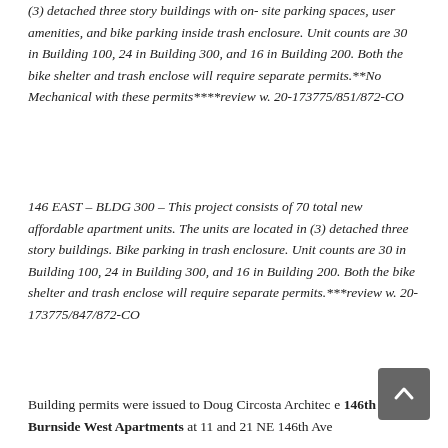(3) detached three story buildings with on-site parking spaces, user amenities, and bike parking inside trash enclosure. Unit counts are 30 in Building 100, 24 in Building 300, and 16 in Building 200. Both the bike shelter and trash enclose will require separate permits.**No Mechanical with these permits****review w. 20-173775/851/872-CO
146 EAST – BLDG 300 – This project consists of 70 total new affordable apartment units. The units are located in (3) detached three story buildings. Bike parking in trash enclosure. Unit counts are 30 in Building 100, 24 in Building 300, and 16 in Building 200. Both the bike shelter and trash enclose will require separate permits.***review w. 20-173775/847/872-CO
Building permits were issued to Doug Circosta Architec... 146th & Burnside West Apartments at 11 and 21 NE 146th Ave